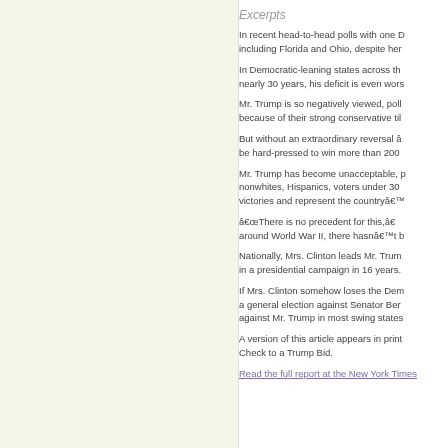Excerpts
In recent head-to-head polls with one D including Florida and Ohio, despite her
In Democratic-leaning states across th nearly 30 years, his deficit is even wors
Mr. Trump is so negatively viewed, poll because of their strong conservative til
But without an extraordinary reversal â be hard-pressed to win more than 200
Mr. Trump has become unacceptable, p nonwhites, Hispanics, voters under 30 victories and represent the countryâ€™
â€œThere is no precedent for this,â€ around World War II, there hasnâ€™t b
Nationally, Mrs. Clinton leads Mr. Trum in a presidential campaign in 16 years.
If Mrs. Clinton somehow loses the Dem a general election against Senator Ber against Mr. Trump in most swing states
A version of this article appears in print Check to a Trump Bid.
Read the full report at the New York Times